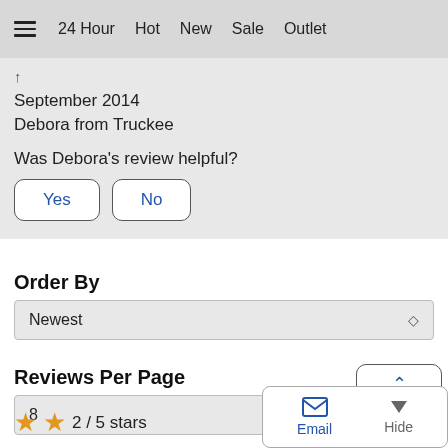≡  24 Hour  Hot  New  Sale  Outlet
September 2014
Debora from Truckee
Was Debora's review helpful?
Yes   No
Order By
Newest
Reviews Per Page
8
To Top
★★ 2 / 5 stars
Email   Hide